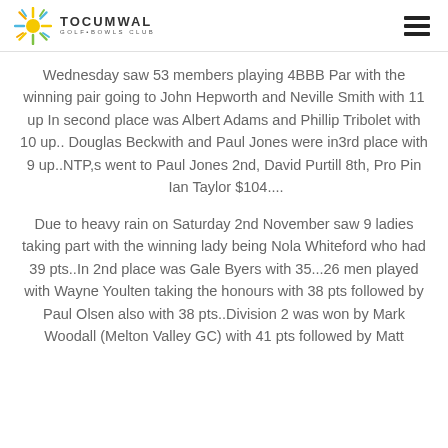TOCUMWAL GOLF & BOWLS CLUB
Wednesday saw 53 members playing 4BBB Par with the winning pair going to John Hepworth and Neville Smith with 11 up In second place was Albert Adams and Phillip Tribolet with 10 up.. Douglas Beckwith and Paul Jones were in3rd place with 9 up..NTP,s went to Paul Jones 2nd, David Purtill 8th, Pro Pin  Ian Taylor $104....
Due to heavy rain on Saturday 2nd November saw 9 ladies taking part with the winning lady being Nola Whiteford who had 39 pts..In 2nd place was Gale Byers with 35...26 men played with Wayne Youlten taking the honours with 38 pts followed by Paul Olsen also with 38 pts..Division 2 was won by Mark Woodall (Melton Valley GC) with 41 pts followed by Matt